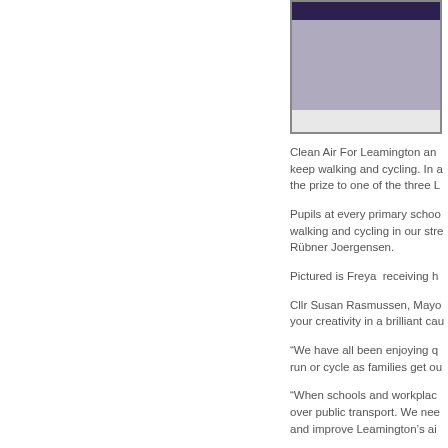[Figure (photo): Photo of a person, partially visible, cropped at top of page on right column]
Clean Air For Leamington and keep walking and cycling. In a the prize to one of the three L
Pupils at every primary schoo walking and cycling in our stre Rübner Joergensen.
Pictured is Freya  receiving h
Cllr Susan Rasmussen, Mayo your creativity in a brilliant cau
“We have all been enjoying q run or cycle as families get ou
“When schools and workplac over public transport. We nee and improve Leamington’s ai
Author Loll Kirby’s new book taking action to address clim